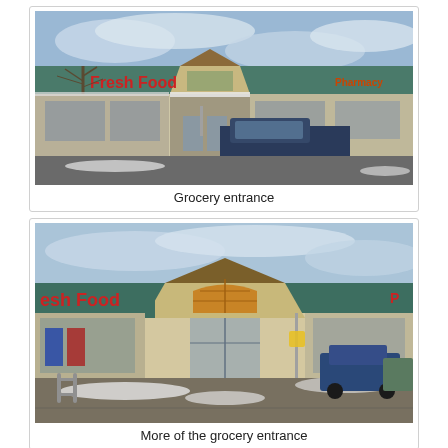[Figure (photo): Exterior photo of a grocery store entrance in winter. The building facade is beige/tan with a teal/green metal roof accent. A red 'Fresh Food' sign is visible on the building. An A-frame style entrance canopy with wood trim is prominent. A dark blue pickup truck is parked in front. Snow is visible on the ground. A 'Pharmacy' sign is partially visible on the right.]
Grocery entrance
[Figure (photo): Another exterior photo of the same grocery store entrance, taken from a slightly different angle showing more of the parking lot. The red 'Fresh Food' sign is partially visible on the left. The A-frame entrance canopy with an orange/amber arched window is clearly visible. Snow is on the ground. Cars are parked in the lot on the right. A red sign partial 'P' is visible on the right side of the building.]
More of the grocery entrance